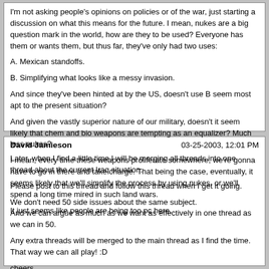I'm not asking people's opinions on policies or of the war, just starting a discussion on what this means for the future. I mean, nukes are a big question mark in the world, how are they to be used? Everyone has them or wants them, but thus far, they've only had two uses:

A. Mexican standoffs.

B. Simplifying what looks like a messy invasion.

And since they've been hinted at by the US, doesn't use B seem most apt to the present situation?

And given the vastly superior nature of our military, doesn't it seem likely that chem and bio weapons are tempting as an equalizer? Much less nukes?

I mean, every time these weapons proliferate somewhere, we're gonna have to go in there and take charge. That being the case, eventually, it seems likely that we'll simplify the process by using nukes, or we'll spend a long time mired in such land wars.

It just seems like people are being too pc here.
David Jamieson | 03-25-2003, 12:01 PM

Later, when I find a little time I will be merging all threads into one thread about the current Iraq situation.

Please post to this thread and follow this thread when I get it going.

We don't need 50 side issues about the same subject.
And we can argue as much as we want as effectively in one thread as we can in 50.

Any extra threads will be merged to the main thread as I find the time. That way we can all play! :D

cheers